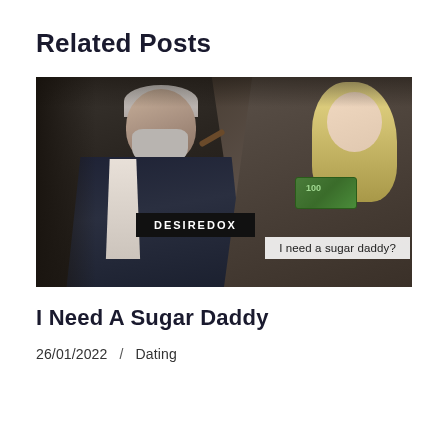Related Posts
[Figure (photo): Photo of an elderly well-dressed man with white beard holding a cigar, seated in a chair, with a young blonde woman beside him holding euro banknotes, with overlay text 'DESIREDOX' and 'I need a sugar daddy?']
I Need A Sugar Daddy
26/01/2022  /  Dating